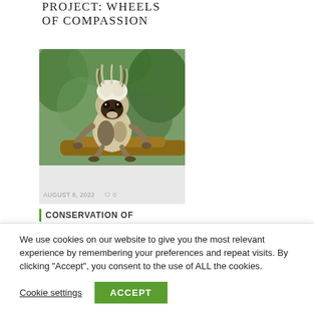PROJECT: WHEELS OF COMPASSION
[Figure (photo): A cotton-top tamarin monkey perched on a branch with green foliage in the background]
AUGUST 8, 2022   0
CONSERVATION OF
We use cookies on our website to give you the most relevant experience by remembering your preferences and repeat visits. By clicking "Accept", you consent to the use of ALL the cookies.
Cookie settings   ACCEPT